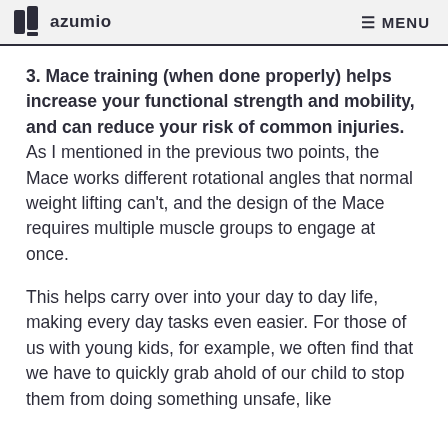azumio  MENU
3. Mace training (when done properly) helps increase your functional strength and mobility, and can reduce your risk of common injuries. As I mentioned in the previous two points, the Mace works different rotational angles that normal weight lifting can't, and the design of the Mace requires multiple muscle groups to engage at once.
This helps carry over into your day to day life, making every day tasks even easier. For those of us with young kids, for example, we often find that we have to quickly grab ahold of our child to stop them from doing something unsafe, like